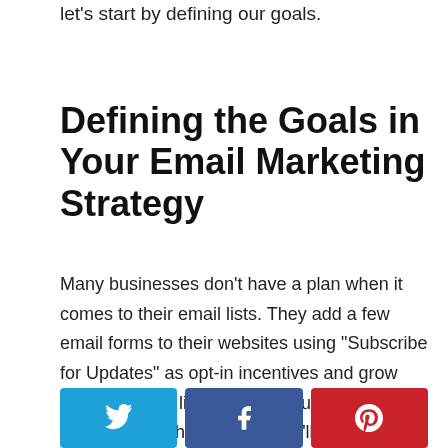let's start by defining our goals.
Defining the Goals in Your Email Marketing Strategy
Many businesses don't have a plan when it comes to their email lists. They add a few email forms to their websites using “Subscribe for Updates” as opt-in incentives and grow massive email lists without actually doing anything with them. Sure, they’ll send out weekly newsletters and important announcements every now and then, but there’s
[Figure (infographic): Three social share buttons: Twitter (blue), Facebook (dark blue), Pinterest (red), each with their respective icons.]